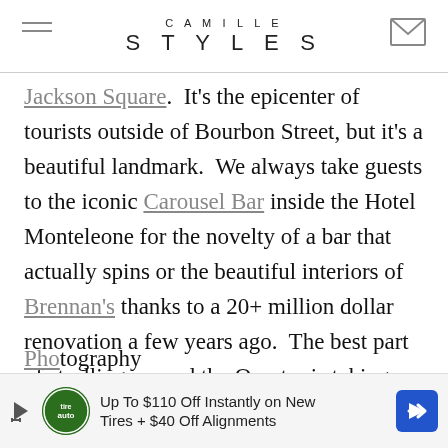CAMILLE STYLES
Jackson Square.  It's the epicenter of tourists outside of Bourbon Street, but it's a beautiful landmark.  We always take guests to the iconic Carousel Bar inside the Hotel Monteleone for the novelty of a bar that actually spins or the beautiful interiors of Brennan's thanks to a 20+ million dollar renovation a few years ago.  The best part of strolling around the Quarter is taking your drink in a 'go cup' and meandering down Royal Street for the art galleries and antiques.  Tuck into A Gallery for Fine Photography on
[Figure (screenshot): Advertisement banner: Up To $110 Off Instantly on New Tires + $40 Off Alignments, with TireAuto logo and blue navigation arrow icon]